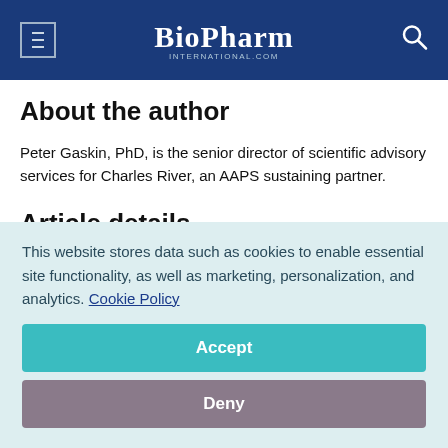BioPharm International
About the author
Peter Gaskin, PhD, is the senior director of scientific advisory services for Charles River, an AAPS sustaining partner.
Article details
BioPharm International
eBook: Partnerships for Outsourcing
May 2022
This website stores data such as cookies to enable essential site functionality, as well as marketing, personalization, and analytics. Cookie Policy
Accept
Deny